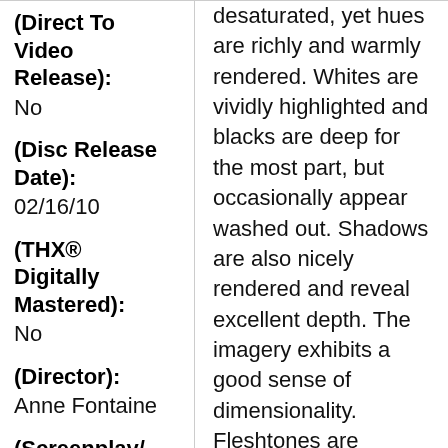(Direct To Video Release):
No
(Disc Release Date):
02/16/10
(THX® Digitally Mastered):
No
(Director):
Anne Fontaine
(Screenplay/ Written By):
Subscribe Now!
desaturated, yet hues are richly and warmly rendered. Whites are vividly highlighted and blacks are deep for the most part, but occasionally appear washed out. Shadows are also nicely rendered and reveal excellent depth. The imagery exhibits a good sense of dimensionality. Fleshtones are perfectly natural. Subtitles are positioned in the black area below the active picture and enter the picture area when two or more lines are displayed. This will present a problem